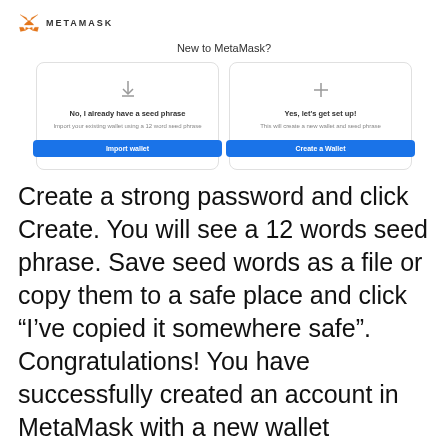METAMASK
New to MetaMask?
[Figure (screenshot): Two option cards side by side. Left card: download icon, 'No, I already have a seed phrase', 'Import your existing wallet using a 12 word seed phrase', blue 'Import wallet' button. Right card: plus icon, 'Yes, let's get set up!', 'This will create a new wallet and seed phrase', blue 'Create a Wallet' button.]
Create a strong password and click Create. You will see a 12 words seed phrase. Save seed words as a file or copy them to a safe place and click “I’ve copied it somewhere safe”.
Congratulations! You have successfully created an account in MetaMask with a new wallet address!
Now you can view your address on Etherscan